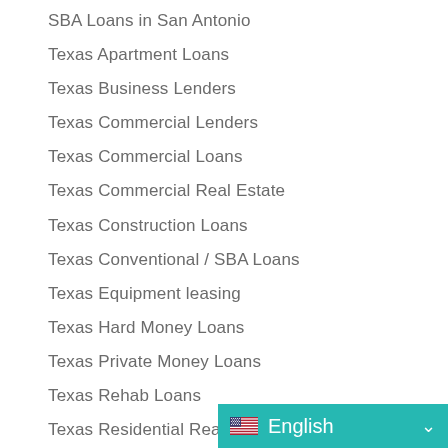SBA Loans in San Antonio
Texas Apartment Loans
Texas Business Lenders
Texas Commercial Lenders
Texas Commercial Loans
Texas Commercial Real Estate
Texas Construction Loans
Texas Conventional / SBA Loans
Texas Equipment leasing
Texas Hard Money Loans
Texas Private Money Loans
Texas Rehab Loans
Texas Residential Real Estate
Texas SBA Loans
Uncategorized